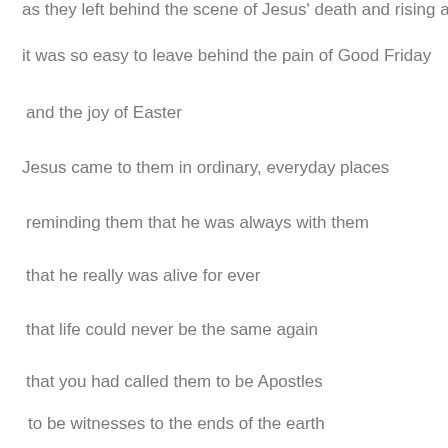as they left behind the scene of Jesus' death and rising again
it was so easy to leave behind the pain of Good Friday
and the joy of Easter
Jesus came to them in ordinary, everyday places
reminding them that he was always with them
that he really was alive for ever
that life could never be the same again
that you had called them to be Apostles
to be witnesses to the ends of the earth
to your Good News and love for people